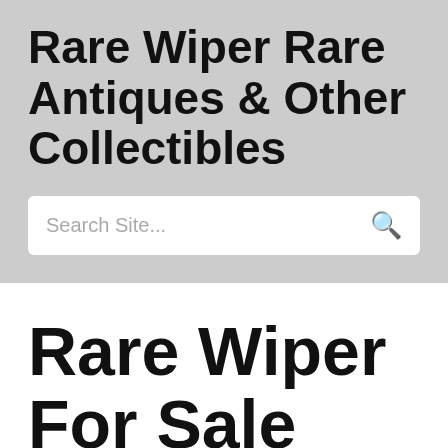Rare Wiper Rare Antiques & Other Collectibles
Search Site...
Rare Wiper For Sale